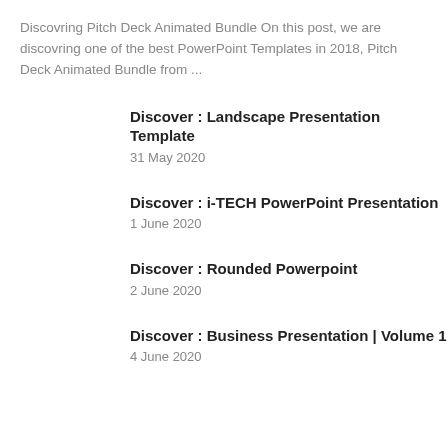Discovring Pitch Deck Animated Bundle On this post, we are discovring one of the best PowerPoint Templates in 2018, Pitch Deck Animated Bundle from ...
Discover : Landscape Presentation Template
31 May 2020
Discover : i-TECH PowerPoint Presentation
1 June 2020
Discover : Rounded Powerpoint
2 June 2020
Discover : Business Presentation | Volume 1
4 June 2020